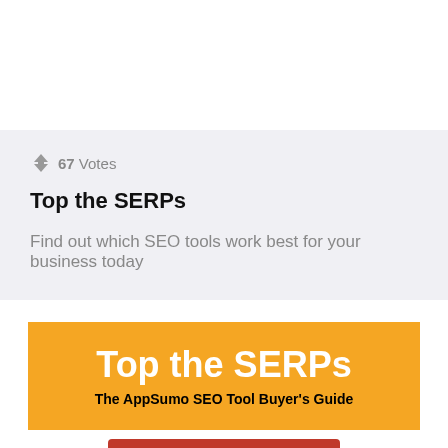67 Votes
Top the SERPs
Find out which SEO tools work best for your business today
[Figure (other): Orange banner with bold white text reading 'Top the SERPs' and subtitle 'The AppSumo SEO Tool Buyer's Guide']
VIEW DEAL